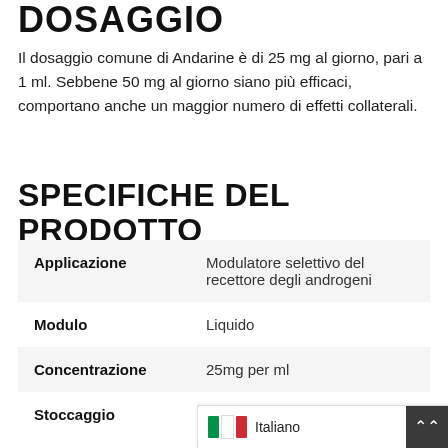DOSAGGIO
Il dosaggio comune di Andarine è di 25 mg al giorno, pari a 1 ml. Sebbene 50 mg al giorno siano più efficaci, comportano anche un maggior numero di effetti collaterali.
SPECIFICHE DEL PRODOTTO
| Applicazione | Modulatore selettivo del recettore degli androgeni |
| Modulo | Liquido |
| Concentrazione | 25mg per ml |
| Stoccaggio | Temperatu... |